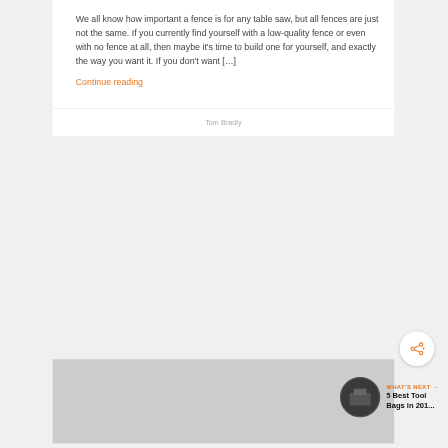We all know how important a fence is for any table saw, but all fences are just not the same. If you currently find yourself with a low-quality fence or even with no fence at all, then maybe it's time to build one for yourself, and exactly the way you want it. If you don't want […]
Continue reading
Tom Bradly
[Figure (other): Share button icon (circle with share symbol)]
WHAT'S NEXT → 5 Best Tool Bags in 201...
[Figure (photo): Thumbnail image for next article about tool bags, dark circular image]